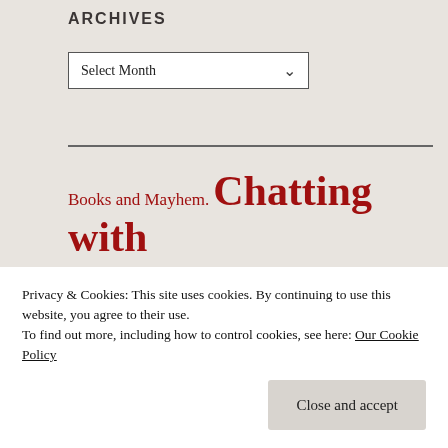ARCHIVES
Select Month
Books and Mayhem. Chatting with Authors Frequently Asked Questions Living Better on Less. Research The
Privacy & Cookies: This site uses cookies. By continuing to use this website, you agree to their use.
To find out more, including how to control cookies, see here: Our Cookie Policy
Close and accept